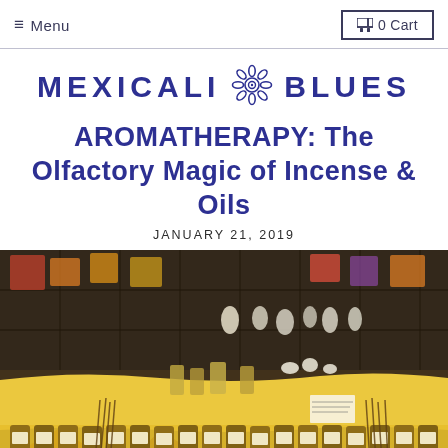≡ Menu   🛒 0 Cart
[Figure (logo): Mexicali Blues logo with stylized flower/sun icon between the two words, in dark blue color]
AROMATHERAPY: The Olfactory Magic of Incense & Oils
JANUARY 21, 2019
[Figure (photo): A store display of oils, incense and aromatherapy products on a yellow cloth-covered table with bottles and jars in the foreground]